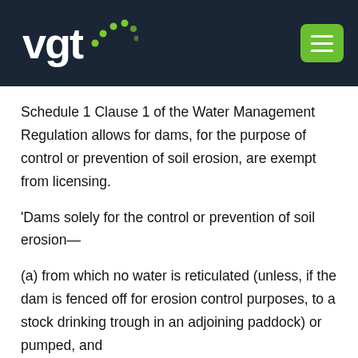[Figure (logo): VGT logo with green dots on dark navy background, with green hamburger menu button in top right]
Schedule 1 Clause 1 of the Water Management Regulation allows for dams, for the purpose of control or prevention of soil erosion, are exempt from licensing.
'Dams solely for the control or prevention of soil erosion—
(a) from which no water is reticulated (unless, if the dam is fenced off for erosion control purposes, to a stock drinking trough in an adjoining paddock) or pumped, and
(b) the structural size of which is the minimum